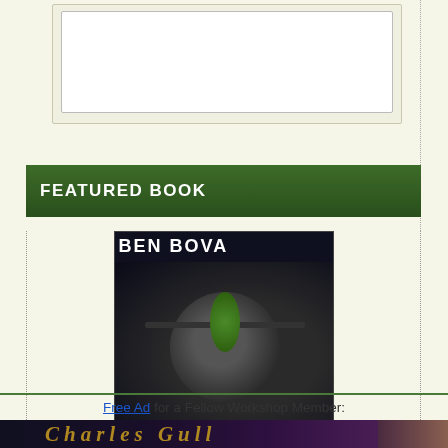[Figure (illustration): White rectangle/input box area on light yellow background, left sidebar region]
FEATURED BOOK
[Figure (illustration): Book cover for Ben Bova's The Exiles Trilogy, showing a space scene with a satellite/station and planet on dark background with green text]
~~~
CRITTERS STORE >>
Free Ad for a Fellow Workshop Member:
[Figure (illustration): Banner image reading 'Charles Gull' in golden stylized font on dark purple/night sky background with a face visible on right side]